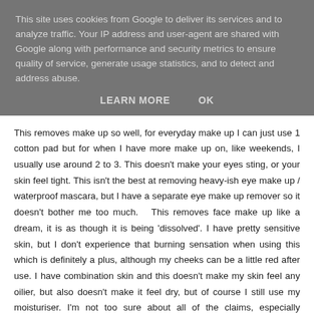This site uses cookies from Google to deliver its services and to analyze traffic. Your IP address and user-agent are shared with Google along with performance and security metrics to ensure quality of service, generate usage statistics, and to detect and address abuse.
LEARN MORE   OK
This removes make up so well, for everyday make up I can just use 1 cotton pad but for when I have more make up on, like weekends, I usually use around 2 to 3. This doesn't make your eyes sting, or your skin feel tight. This isn't the best at removing heavy-ish eye make up / waterproof mascara, but I have a separate eye make up remover so it doesn't bother me too much.  This removes face make up like a dream, it is as though it is being 'dissolved'. I have pretty sensitive skin, but I don't experience that burning sensation when using this which is definitely a plus, although my cheeks can be a little red after use. I have combination skin and this doesn't make my skin feel any oilier, but also doesn't make it feel dry, but of course I still use my moisturiser. I'm not too sure about all of the claims, especially unclogging pores - I don't think my skin has improved majorly blemish wise, although it could be work in progress.